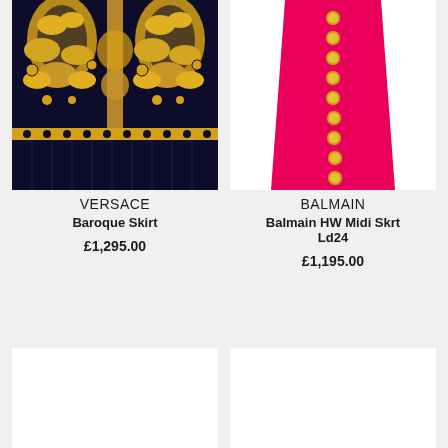[Figure (photo): Versace baroque patterned pleated skirt with gold and black design]
VERSACE
Baroque Skirt
£1,295.00
[Figure (photo): Balmain hot pink/fuchsia midi skirt with gold buttons down the front]
BALMAIN
Balmain HW Midi Skrt Ld24
£1,195.00